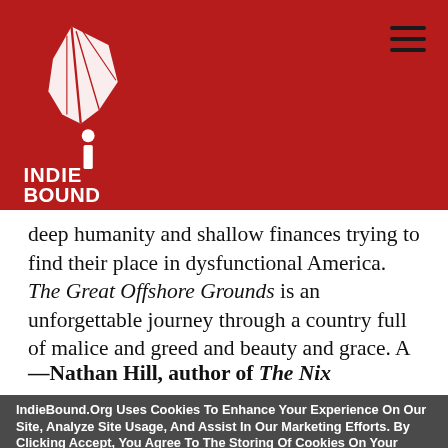[Figure (logo): IndieBound logo — white feather/book design with INDIE BOUND text, on dark red background]
deep humanity and shallow finances trying to find their place in dysfunctional America. The Great Offshore Grounds is an unforgettable journey through a country full of malice and greed and beauty and grace. A brilliant and fearless book."
—Nathan Hill, author of The Nix
IndieBound.Org Uses Cookies To Enhance Your Experience On Our Site, Analyze Site Usage, And Assist In Our Marketing Efforts. By Clicking Accept, You Agree To The Storing Of Cookies On Your Device. View Our Cookie Policy.
Give me more info
Accept all Cookies